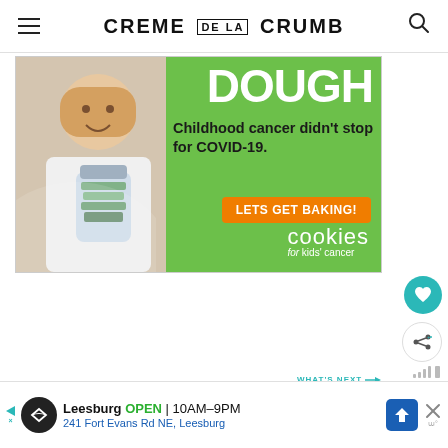CREME DE LA CRUMB
[Figure (photo): Advertisement banner for Cookies for Kids' Cancer charity. Green background with text 'DOUGH', 'Childhood cancer didn't stop for COVID-19.', orange button 'LETS GET BAKING!', and 'cookies for kids' cancer' logo. Left side shows a smiling girl holding a glass jar of money.]
[Figure (other): Floating action buttons: teal heart/favorite button and white share button on the right side of the page.]
WHAT'S NEXT → Honey Lime Salmon with...
[Figure (other): Bottom banner advertisement: Leesburg OPEN 10AM–9PM, 241 Fort Evans Rd NE, Leesburg]